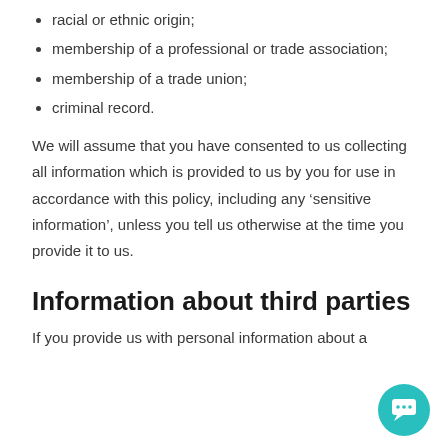racial or ethnic origin;
membership of a professional or trade association;
membership of a trade union;
criminal record.
We will assume that you have consented to us collecting all information which is provided to us by you for use in accordance with this policy, including any ‘sensitive information’, unless you tell us otherwise at the time you provide it to us.
Information about third parties
If you provide us with personal information about a